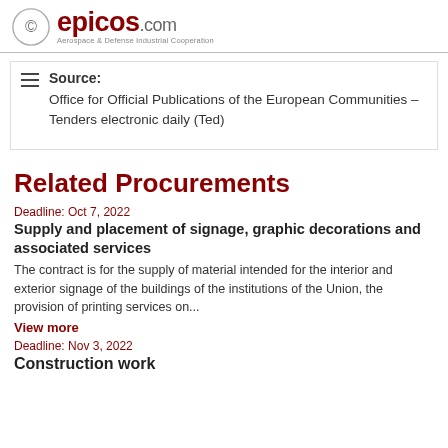[Figure (logo): epicos.com logo with circular icon and tagline Aerospace & Defense Industrial Cooperation]
Source: Office for Official Publications of the European Communities - Tenders electronic daily (Ted)
Related Procurements
Deadline: Oct 7, 2022
Supply and placement of signage, graphic decorations and associated services
The contract is for the supply of material intended for the interior and exterior signage of the buildings of the institutions of the Union, the provision of printing services on...
View more
Deadline: Nov 3, 2022
Construction work